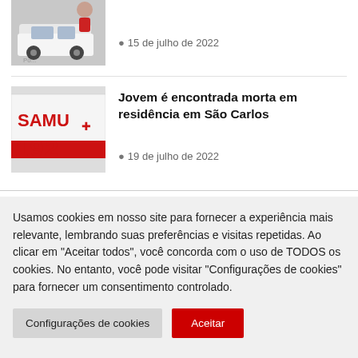[Figure (photo): White police car with person visible in background]
15 de julho de 2022
[Figure (photo): SAMU 192 ambulance side view]
Jovem é encontrada morta em residência em São Carlos
19 de julho de 2022
Usamos cookies em nosso site para fornecer a experiência mais relevante, lembrando suas preferências e visitas repetidas. Ao clicar em "Aceitar todos", você concorda com o uso de TODOS os cookies. No entanto, você pode visitar "Configurações de cookies" para fornecer um consentimento controlado.
Configurações de cookies
Aceitar